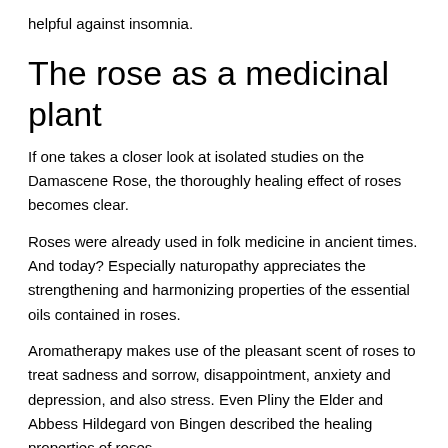helpful against insomnia.
The rose as a medicinal plant
If one takes a closer look at isolated studies on the Damascene Rose, the thoroughly healing effect of roses becomes clear.
Roses were already used in folk medicine in ancient times. And today? Especially naturopathy appreciates the strengthening and harmonizing properties of the essential oils contained in roses.
Aromatherapy makes use of the pleasant scent of roses to treat sadness and sorrow, disappointment, anxiety and depression, and also stress. Even Pliny the Elder and Abbess Hildegard von Bingen described the healing properties of roses.
In 1625, the German doctor and pharmacist as well as professor of medicine and botany, Jacobus Theodorus Tabernaemontames, described the therapeutic properties of roses.